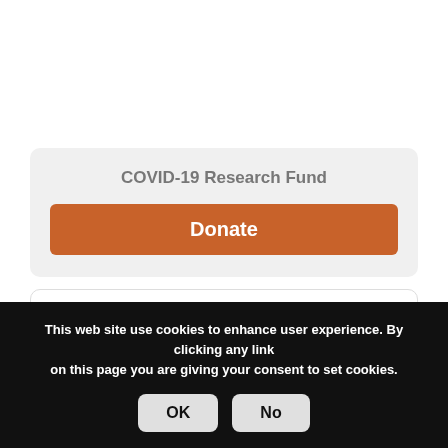COVID-19 Research Fund
Donate
FAMOUS MASONS
Alecu Russo
Alexandru G. Golescu
Alexandru Ioan Cuza
This web site use cookies to enhance user experience. By clicking any link on this page you are giving your consent to set cookies. OK No